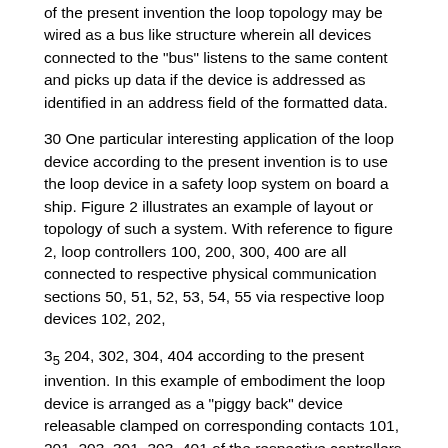of the present invention the loop topology may be wired as a bus like structure wherein all devices connected to the "bus" listens to the same content and picks up data if the device is addressed as identified in an address field of the formatted data.
30 One particular interesting application of the loop device according to the present invention is to use the loop device in a safety loop system on board a ship. Figure 2 illustrates an example of layout or topology of such a system. With reference to figure 2, loop controllers 100, 200, 300, 400 are all connected to respective physical communication sections 50, 51, 52, 53, 54, 55 via respective loop devices 102, 202,
35 204, 302, 304, 404 according to the present invention. In this example of embodiment the loop device is arranged as a "piggy back" device releasable clamped on corresponding contacts 101, 201, 203, 301, 303, 401 of the respective controllers 100, 200, 300, 400. As can be seen in figure 2, the loop device 102 connects the communication segments 50, 51 to respective loop ports 5 and 7, and the loop device is further connected to